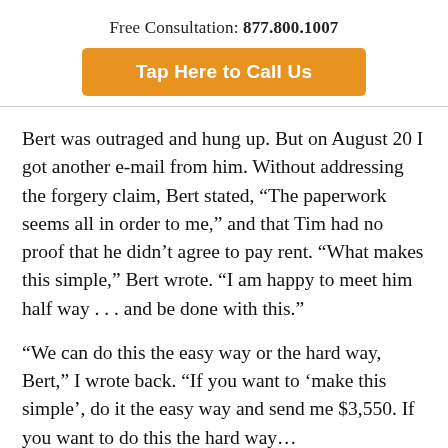Free Consultation: 877.800.1007
Tap Here to Call Us
Bert was outraged and hung up. But on August 20 I got another e-mail from him. Without addressing the forgery claim, Bert stated, “The paperwork seems all in order to me,” and that Tim had no proof that he didn’t agree to pay rent. “What makes this simple,” Bert wrote. “I am happy to meet him half way . . . and be done with this.”
“We can do this the easy way or the hard way, Bert,” I wrote back. “If you want to ‘make this simple’, do it the easy way and send me $3,550. If you want to do this the hard way…”